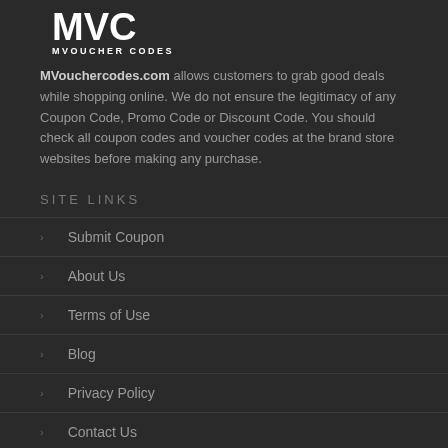[Figure (logo): MVC MVOUCHER CODES logo with white stylized text on dark background]
MVouchercodes.com allows customers to grab good deals while shopping online. We do not ensure the legitimacy of any Coupon Code, Promo Code or Discount Code. You should check all coupon codes and voucher codes at the brand store websites before making any purchase.
SITE LINKS
Submit Coupon
About Us
Terms of Use
Blog
Privacy Policy
Contact Us